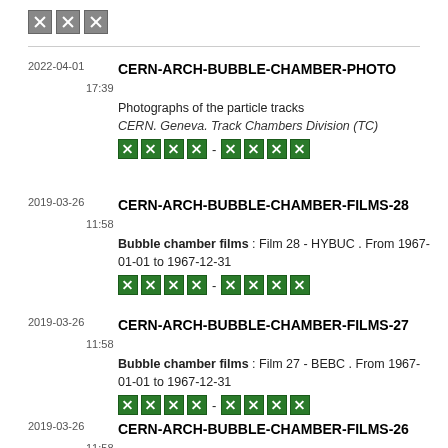[Figure (logo): Three gray X placeholder icons in a row]
2022-04-01 CERN-ARCH-BUBBLE-CHAMBER-PHOTO
17:39 Photographs of the particle tracks
CERN. Geneva. Track Chambers Division (TC)
[icons]
2019-03-26 CERN-ARCH-BUBBLE-CHAMBER-FILMS-28
11:58 Bubble chamber films : Film 28 - HYBUC . From 1967-01-01 to 1967-12-31
[icons]
2019-03-26 CERN-ARCH-BUBBLE-CHAMBER-FILMS-27
11:58 Bubble chamber films : Film 27 - BEBC . From 1967-01-01 to 1967-12-31
[icons]
2019-03-26 CERN-ARCH-BUBBLE-CHAMBER-FILMS-26
11:58 Bubble chamber films : Film 26 - 2 motor (H)